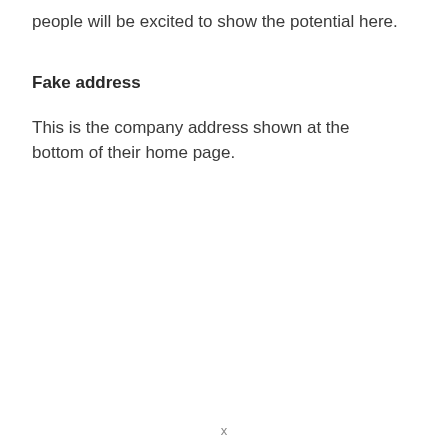people will be excited to show the potential here.
Fake address
This is the company address shown at the bottom of their home page.
x